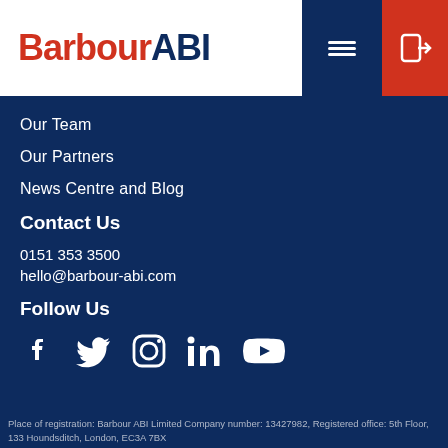[Figure (logo): Barbour ABI logo with hamburger menu and login icon in header]
Our Team
Our Partners
News Centre and Blog
Contact Us
0151 353 3500
hello@barbour-abi.com
Follow Us
[Figure (illustration): Social media icons: Facebook, Twitter, Instagram, LinkedIn, YouTube]
Place of registration: Barbour ABI Limited Company number: 13427982, Registered office: 5th Floor, 133 Houndsditch, London, EC3A 7BX